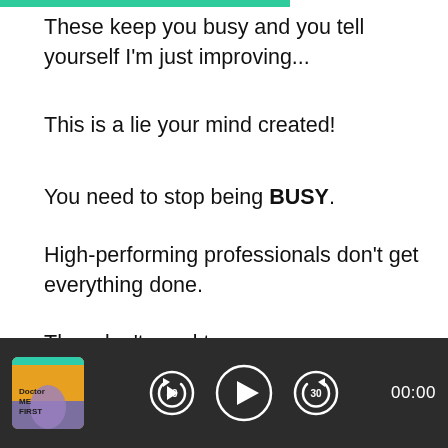These keep you busy and you tell yourself I'm just improving...
This is a lie your mind created!
You need to stop being BUSY.
High-performing professionals don't get everything done.
They don't need to.
They just need to identify the MOST crucial things that will help them to spend 20% of their energy to produce 80% of the results.
[Figure (other): Podcast player bar with album art for 'Doctor ME FIRST', rewind 30s button, play button, forward 30s button, and time display showing 00:00]